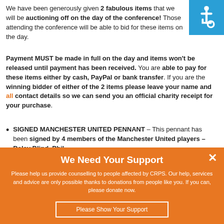We have been generously given 2 fabulous items that we will be auctioning off on the day of the conference! Those attending the conference will be able to bid for these items on the day. Payment MUST be made in full on the day and items won't be released until payment has been received. You are able to pay for these items either by cash, PayPal or bank transfer. If you are the winning bidder of either of the 2 items please leave your name and all contact details so we can send you an official charity receipt for your purchase.
[Figure (other): Wheelchair accessibility icon — white wheelchair symbol on blue square background]
SIGNED MANCHESTER UNITED PENNANT – This pennant has been signed by 4 members of the Manchester United players – Daley Blind, Phil
We Need Your Support
Please help us provide counselling to people affected by CRPS. Our help, services and advice are only possible thanks to donations from people like you. If you can, please donate now.
Please Show Your Support